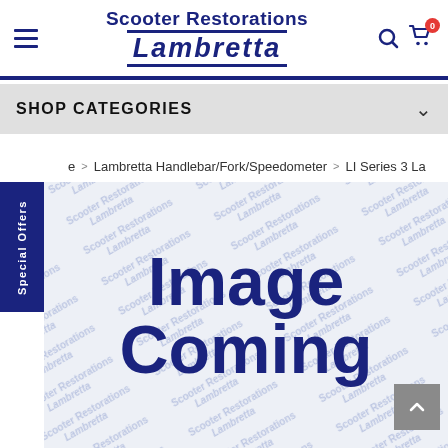Scooter Restorations Lambretta
SHOP CATEGORIES
e > Lambretta Handlebar/Fork/Speedometer > LI Series 3 La
[Figure (screenshot): Product placeholder image with 'Image Coming' text overlaid on a repeating Scooter Restorations Lambretta watermark pattern background]
Special Offers